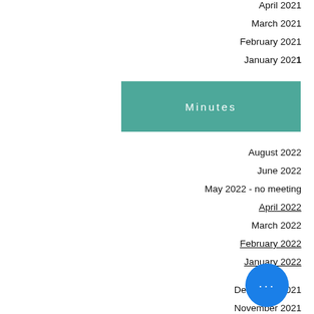April 2021
March 2021
February 2021
January 2021
Minutes
August 2022
June 2022
May 2022 - no meeting
April 2022
March 2022
February 2022
January 2022
December 2021
November 2021
October 2021
September 2021
August 2021
July 2021
June 2021
May 2021